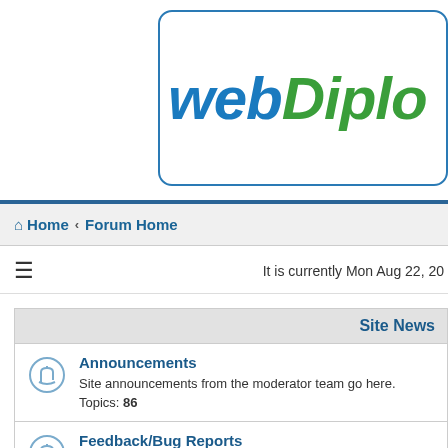[Figure (logo): webDiplo site logo with 'web' in blue italic bold and 'Diplo' in green italic bold inside a rounded rectangle border]
⌂ Home ‹ Forum Home
≡
It is currently Mon Aug 22, 20...
| Site News |
| --- |
| [icon] | Announcements | Site announcements from the moderator team go here. Topics: 86 |
| [icon] | Feedback/Bug Reports | Members can make suggestions for improving the site and i... |